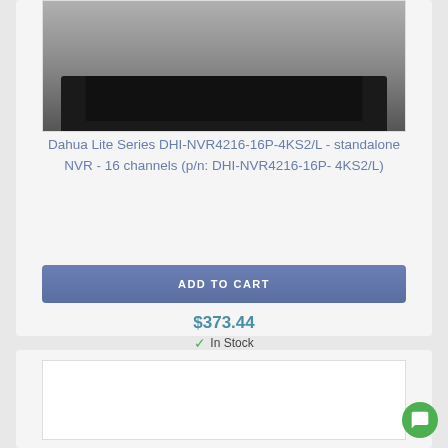[Figure (photo): Product image area for Dahua NVR device, showing a dark rectangular NVR hardware unit]
Dahua Lite Series DHI-NVR4216-16P-4KS2/L - standalone NVR - 16 channels (p/n: DHI-NVR4216-16P-4KS2/L)
ADD TO CART
$373.44
✓ In Stock
[Figure (photo): Second product card image area, white box placeholder]